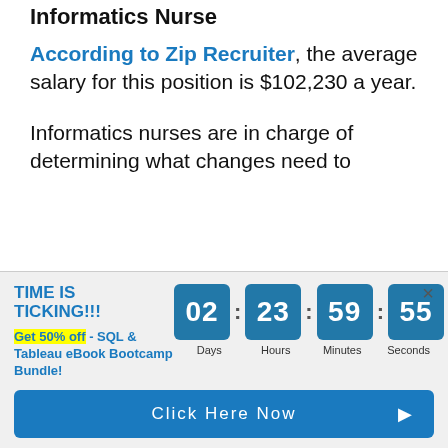Informatics Nurse
According to Zip Recruiter, the average salary for this position is $102,230 a year.
Informatics nurses are in charge of determining what changes need to
TIME IS TICKING!!!
Get 50% off - SQL & Tableau eBook Bootcamp Bundle!
02 : 23 : 59 : 55 Days Hours Minutes Seconds
Click Here Now